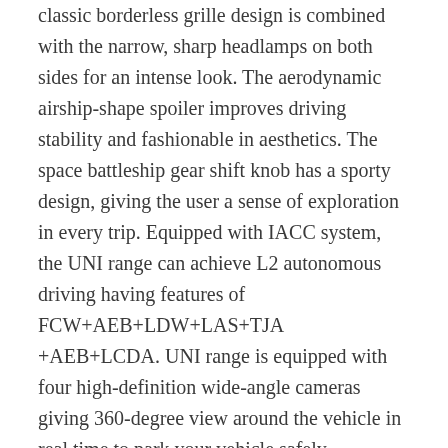classic borderless grille design is combined with the narrow, sharp headlamps on both sides for an intense look. The aerodynamic airship-shape spoiler improves driving stability and fashionable in aesthetics. The space battleship gear shift knob has a sporty design, giving the user a sense of exploration in every trip. Equipped with IACC system, the UNI range can achieve L2 autonomous driving having features of FCW+AEB+LDW+LAS+TJA +AEB+LCDA. UNI range is equipped with four high-definition wide-angle cameras giving 360-degree view around the vehicle in real time to park your vehicle safely.
The UNI range adopts a simplistic yet avante grade interior design. It uses an asymmetrical